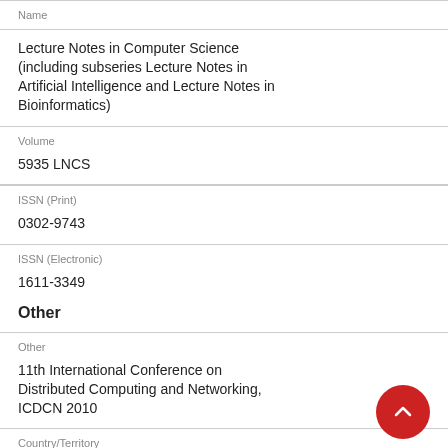Name
Lecture Notes in Computer Science (including subseries Lecture Notes in Artificial Intelligence and Lecture Notes in Bioinformatics)
Volume
5935 LNCS
ISSN (Print)
0302-9743
ISSN (Electronic)
1611-3349
Other
Other
11th International Conference on Distributed Computing and Networking, ICDCN 2010
Country/Territory